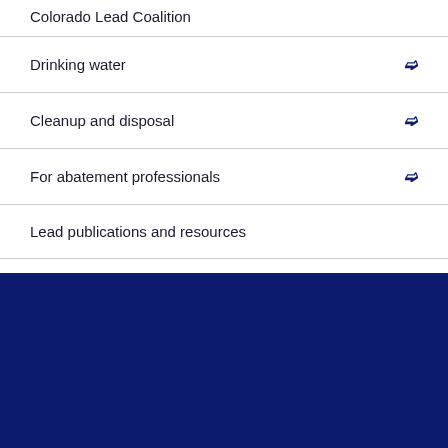Colorado Lead Coalition
Drinking water
Cleanup and disposal
For abatement professionals
Lead publications and resources